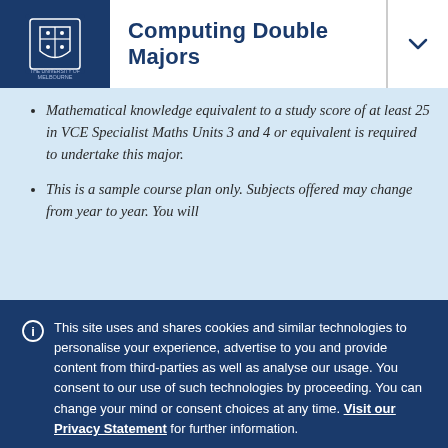Computing Double Majors
Mathematical knowledge equivalent to a study score of at least 25 in VCE Specialist Maths Units 3 and 4 or equivalent is required to undertake this major.
This is a sample course plan only. Subjects offered may change from year to year. You will
This site uses and shares cookies and similar technologies to personalise your experience, advertise to you and provide content from third-parties as well as analyse our usage. You consent to our use of such technologies by proceeding. You can change your mind or consent choices at any time. Visit our Privacy Statement for further information.
Accept cookies | Cookie Preferences